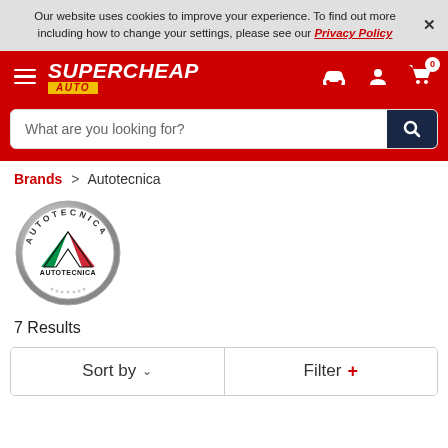Our website uses cookies to improve your experience. To find out more including how to change your settings, please see our Privacy Policy ×
[Figure (logo): Supercheap Auto logo with hamburger menu, car icon, user icon, and cart icon with 0 badge on red navigation bar]
What are you looking for?
Brands > Autotecnica
[Figure (logo): Autotecnica circular metallic badge logo with Italian flag colors and brand name]
7 Results
Sort by   Filter +